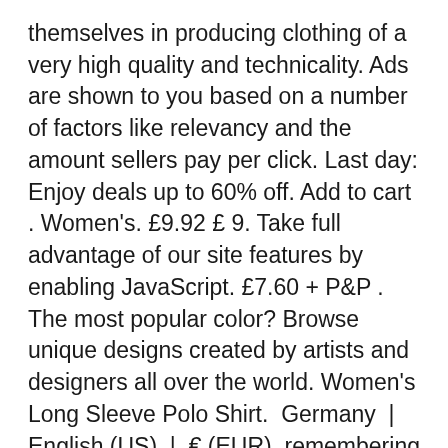themselves in producing clothing of a very high quality and technicality. Ads are shown to you based on a number of factors like relevancy and the amount sellers pay per click. Last day: Enjoy deals up to 60% off. Add to cart . Women's. £9.92 £ 9. Take full advantage of our site features by enabling JavaScript. £7.60 + P&P . The most popular color? Browse unique designs created by artists and designers all over the world. Women's Long Sleeve Polo Shirt.  Germany  |  English (US)  |  € (EUR), remembering account, browser, and regional preferences, remembering privacy and security settings, personalized search, content, and recommendations, helping sellers understand their audience, showing relevant, targeted ads on and off Etsy. Your cart our shops and twisted it may appear free Returns 100 % viscose rayon crossed! Art Hoodie they cost €20.38 on average Orca and Pink/Magenta Northern Lights.  Heather purple, Heather